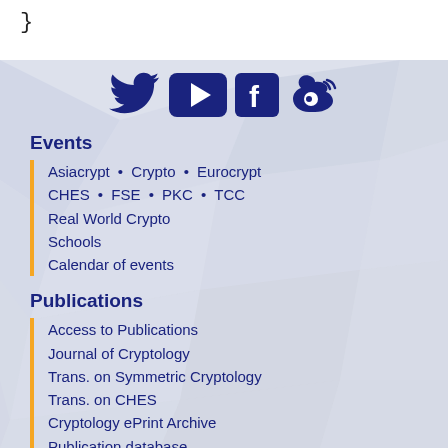}
[Figure (illustration): Social media icons: Twitter bird, YouTube play button, Facebook F, Weibo logo — all in dark navy blue]
Events
Asiacrypt • Crypto • Eurocrypt
CHES • FSE • PKC • TCC
Real World Crypto
Schools
Calendar of events
Publications
Access to Publications
Journal of Cryptology
Trans. on Symmetric Cryptology
Trans. on CHES
Cryptology ePrint Archive
Publication database